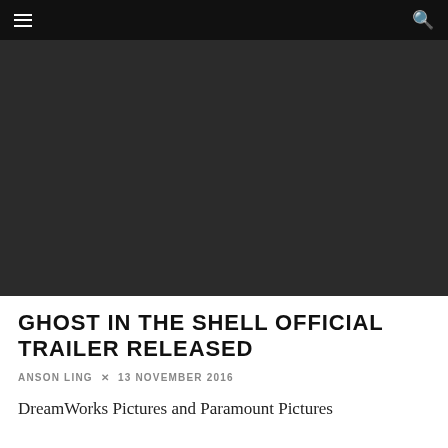[Figure (photo): Dark/black hero image area for video or photo content related to Ghost in the Shell]
GHOST IN THE SHELL OFFICIAL TRAILER RELEASED
ANSON LING × 13 NOVEMBER 2016
DreamWorks Pictures and Paramount Pictures